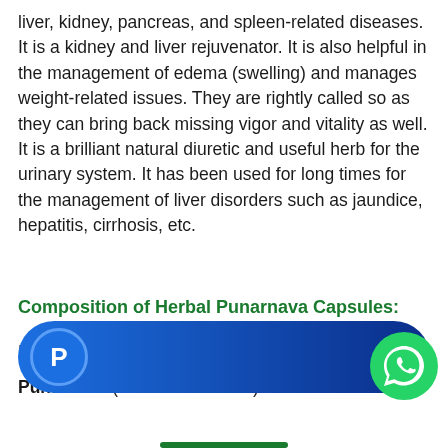liver, kidney, pancreas, and spleen-related diseases. It is a kidney and liver rejuvenator. It is also helpful in the management of edema (swelling) and manages weight-related issues. They are rightly called so as they can bring back missing vigor and vitality as well. It is a brilliant natural diuretic and useful herb for the urinary system. It has been used for long times for the management of liver disorders such as jaundice, hepatitis, cirrhosis, etc.
Composition of Herbal Punarnava Capsules:
Each 500mg Capsule contains herb extract:
Punarnava (Boerhavia diffusa)
[Figure (other): PayPal promotional banner with blue gradient pill-shaped background and PayPal 'P' logo icon on the left]
[Figure (other): WhatsApp green circular icon with phone handset symbol]